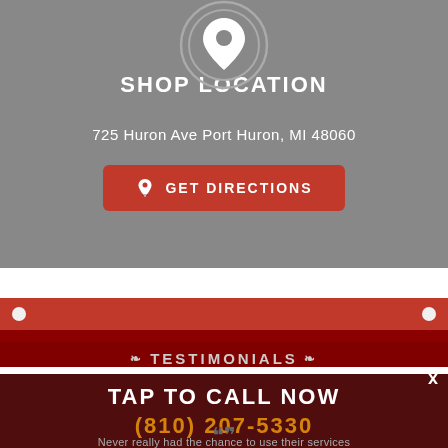[Figure (illustration): Gray location pin icon inside circular rings on gray background]
SHOP LOCATION
725 Huron Ave Port Huron, MI 48060
GET DIRECTIONS
TESTIMONIALS
TAP TO CALL NOW
(810) 207-5330
Never really had the chance to use their services